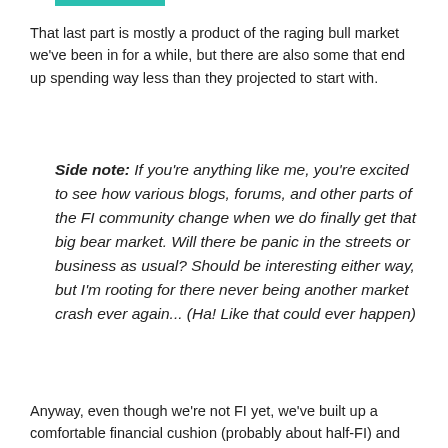That last part is mostly a product of the raging bull market we've been in for a while, but there are also some that end up spending way less than they projected to start with.
Side note: If you're anything like me, you're excited to see how various blogs, forums, and other parts of the FI community change when we do finally get that big bear market. Will there be panic in the streets or business as usual? Should be interesting either way, but I'm rooting for there never being another market crash ever again... (Ha! Like that could ever happen)
Anyway, even though we're not FI yet, we've built up a comfortable financial cushion (probably about half-FI) and